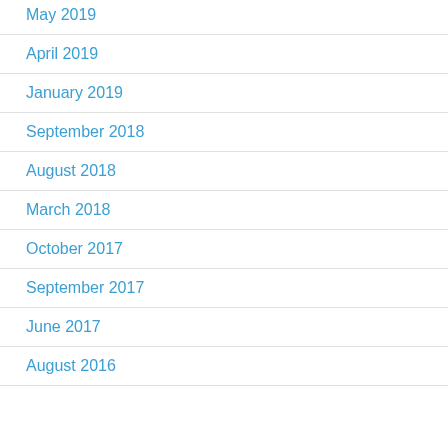May 2019
April 2019
January 2019
September 2018
August 2018
March 2018
October 2017
September 2017
June 2017
August 2016